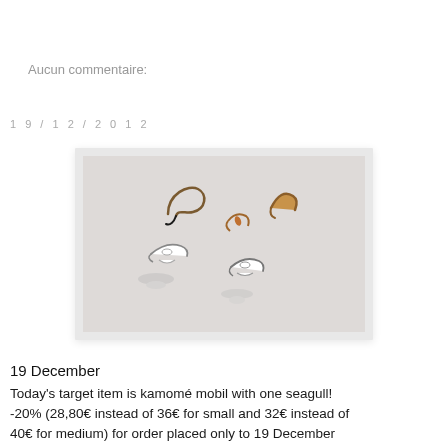Aucun commentaire:
19/12/2012
[Figure (photo): Photo of a mobile sculpture with small bird/seagull figures — some brownish/orange, some white/grey — suspended against a white background, resembling a kamomé seagull mobile art piece.]
19 December
Today's target item is kamomé mobil with one seagull!
-20% (28,80€ instead of 36€ for small and 32€ instead of 40€ for medium) for order placed only to 19 December